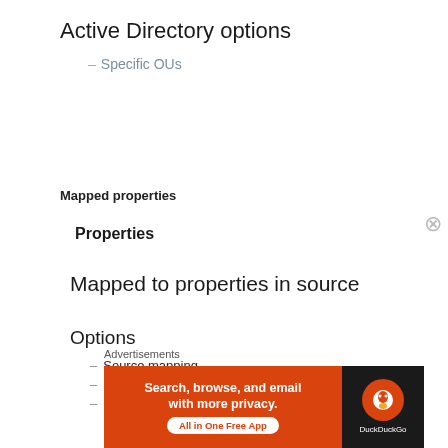Active Directory options
– Specific OUs
Mapped properties
Properties
Mapped to properties in source
Options
– Source mapping
– Required
– Data type
– Privacy Setting
• Everyone
• Only me
– Sync option
• Import
Advertisements
[Figure (other): DuckDuckGo advertisement banner: 'Search, browse, and email with more privacy. All in One Free App']